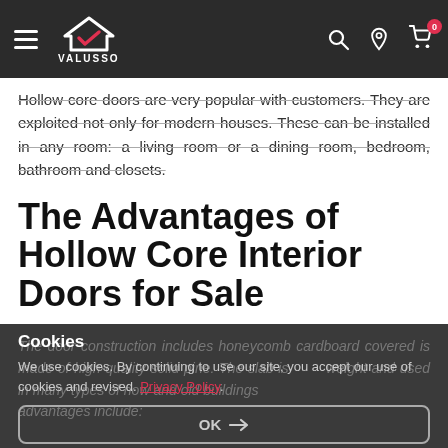VALUSSO (navigation bar with logo, hamburger menu, search, location, and cart icons)
Hollow core doors are very popular with customers. They are exploited not only for modern houses. These can be installed in any room: a living room or a dining room, bedroom, bathroom and closets.
The Advantages of Hollow Core Interior Doors for Sale
The door construction includes honeycomb cardboard [covered by cookie banner] is made of high-quality solid pine. The slab is [weight] and used in many types of now and old buildings [advantages include:]
Cookies
We use cookies. By continuing to use our site, you accept our use of cookies and revised. Privacy Policy.
OK →